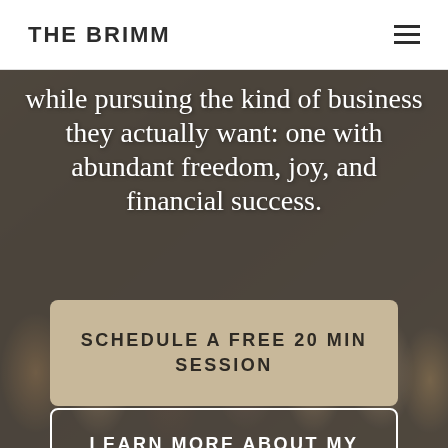THE BRIMM
[Figure (photo): Group of women smiling outdoors, used as hero background image]
while pursuing the kind of business they actually want: one with abundant freedom, joy, and financial success.
SCHEDULE A FREE 20 MIN SESSION
LEARN MORE ABOUT MY COACHING PROGRAM